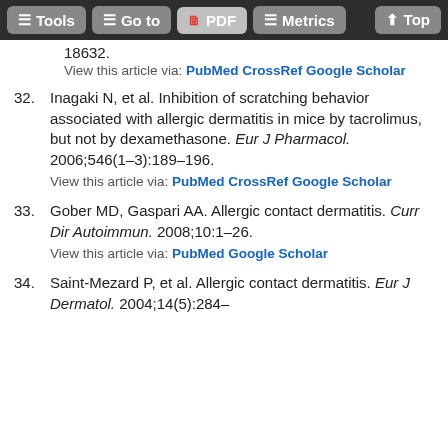Tools | Go to | PDF | Metrics | Top
18632.
View this article via: PubMed CrossRef Google Scholar
32. Inagaki N, et al. Inhibition of scratching behavior associated with allergic dermatitis in mice by tacrolimus, but not by dexamethasone. Eur J Pharmacol. 2006;546(1–3):189–196.
View this article via: PubMed CrossRef Google Scholar
33. Gober MD, Gaspari AA. Allergic contact dermatitis. Curr Dir Autoimmun. 2008;10:1–26.
View this article via: PubMed Google Scholar
34. Saint-Mezard P, et al. Allergic contact dermatitis. Eur J Dermatol. 2004;14(5):284–